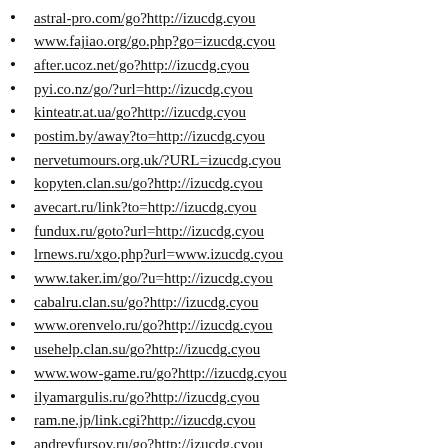astral-pro.com/go?http://izucdg.cyou
www.fajiao.org/go.php?go=izucdg.cyou
after.ucoz.net/go?http://izucdg.cyou
pyi.co.nz/go/?url=http://izucdg.cyou
kinteatr.at.ua/go?http://izucdg.cyou
postim.by/away?to=http://izucdg.cyou
nervetumours.org.uk/?URL=izucdg.cyou
kopyten.clan.su/go?http://izucdg.cyou
avecart.ru/link?to=http://izucdg.cyou
fundux.ru/goto?url=http://izucdg.cyou
lrnews.ru/xgo.php?url=www.izucdg.cyou
www.taker.im/go/?u=http://izucdg.cyou
cabalru.clan.su/go?http://izucdg.cyou
www.orenvelo.ru/go?http://izucdg.cyou
usehelp.clan.su/go?http://izucdg.cyou
www.wow-game.ru/go?http://izucdg.cyou
ilyamargulis.ru/go?http://izucdg.cyou
ram.ne.jp/link.cgi?http://izucdg.cyou
andreyfursov.ru/go?http://izucdg.cyou